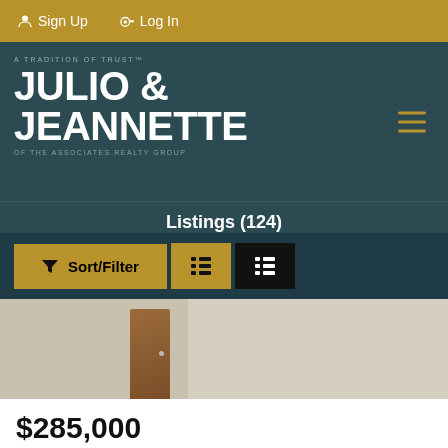Sign Up  |  Log In
[Figure (logo): Julio & Jeannette of The Associates Realty Group logo on dark teal background with hamburger menu]
Listings (124)
Sort/Filter | List view toggle buttons
[Figure (photo): Property photo showing a wooden door and stucco wall]
$285,000
801 S Lyon Street #17
Santa Ana, CA 92705
For Sale  |  620 sqft  |  1 bed  |  1 bath  |  #PW22140632